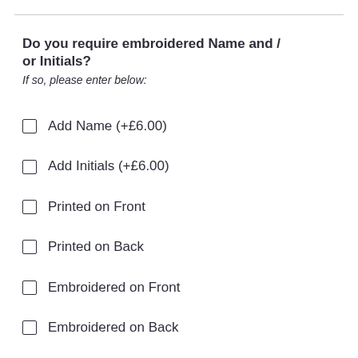Do you require embroidered Name and / or Initials?
If so, please enter below:
Add Name (+£6.00)
Add Initials (+£6.00)
Printed on Front
Printed on Back
Embroidered on Front
Embroidered on Back